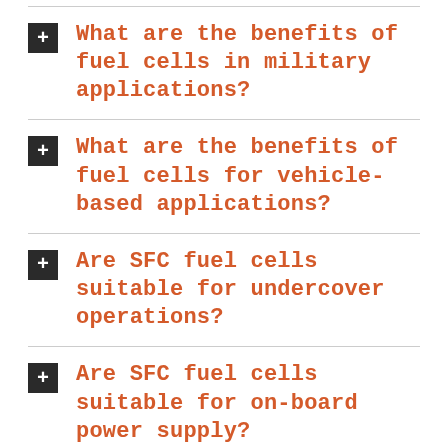What are the benefits of fuel cells in military applications?
What are the benefits of fuel cells for vehicle-based applications?
Are SFC fuel cells suitable for undercover operations?
Are SFC fuel cells suitable for on-board power supply?